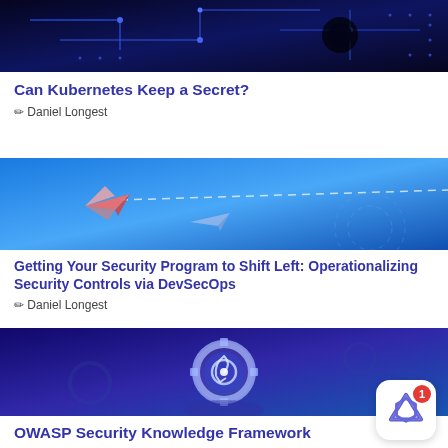[Figure (photo): Dark blue circuit board background with technological details]
Can Kubernetes Keep a Secret?
✏ Daniel Longest
[Figure (photo): Light blue background with a pink paper airplane flying along a dashed trajectory line]
Getting Your Security Program to Shift Left: Operationalizing Security Controls via DevSecOps
✏ Daniel Longest
[Figure (photo): Deep blue background with a glowing gear/cog icon held in hands]
OWASP Security Knowledge Framework
✏ Daniel Longest